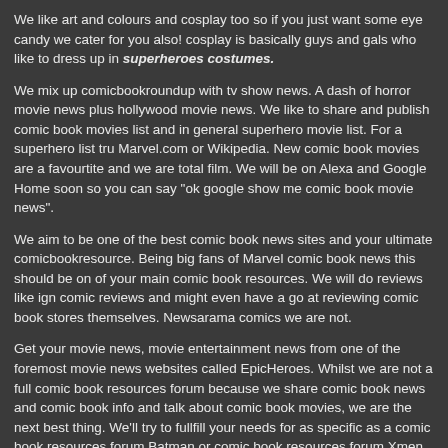We like art and colours and cosplay too so if you just want some eye candy we cater for you also! cosplay is basically guys and gals who like to dress up in superheroes costumes.
We mix up comicbookroundup with tv show news. A dash of horror movie news plus hollywood movie news. We like to share and publish comic book movies list and in general superhero movie list. For a superhero list tru Marvel.com or Wikipedia. New comic book movies are a favourtite and we are total film. We will be on Alexa and Google Home soon so you can say "ok google show me comic book movie news".
We aim to be one of the best comic book news sites and your ultimate comicbookresource. Being big fans of Marvel comic book news this should be on of your main comic book resources. We will do reviews like ign comic reviews and might even have a go at reviewing comic book stores themselves. Newsarama comics we are not.
Get your movie news, movie entertainment news from one of the foremost movie news websites called EpicHeroes. Whilst we are not a full comic book resources forum because we share comic book news and comic book info and talk about comic book movies, we are the next best thing. We'll try to fullfill your needs for as specific as a comic book resources forum Batman or comic book resources forum Xmen and if not we will write comic book resources reviews. Find out about comic book movie news, tv show news cancellations, series news coming soon, tv entertainment news.